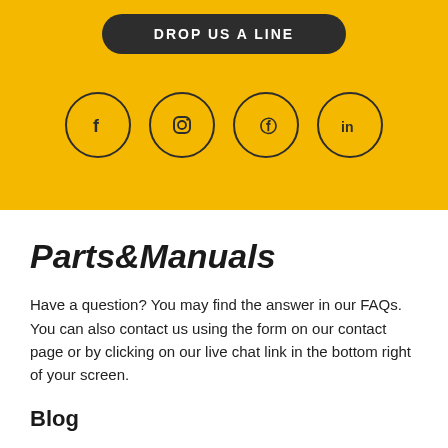DROP US A LINE
[Figure (other): Four social media icon circles: Facebook (f), Instagram (camera/circle), Pinterest (P), LinkedIn (in)]
Parts&Manuals
Have a question? You may find the answer in our FAQs. You can also contact us using the form on our contact page or by clicking on our live chat link in the bottom right of your screen.
Blog